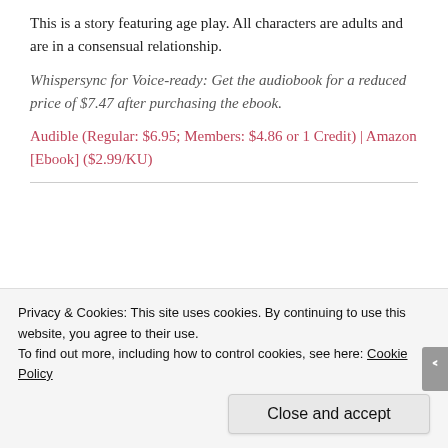This is a story featuring age play. All characters are adults and are in a consensual relationship.
Whispersync for Voice-ready: Get the audiobook for a reduced price of $7.47 after purchasing the ebook.
Audible (Regular: $6.95; Members: $4.86 or 1 Credit) | Amazon [Ebook] ($2.99/KU)
[Figure (photo): Partial photo strip of a person, dark tones]
Xan
Privacy & Cookies: This site uses cookies. By continuing to use this website, you agree to their use.
To find out more, including how to control cookies, see here: Cookie Policy
Close and accept